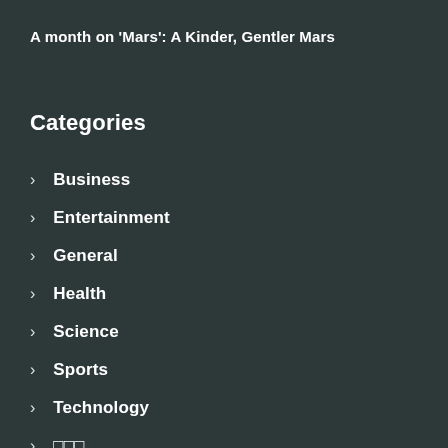A month on 'Mars': A Kinder, Gentler Mars
Categories
Business
Entertainment
General
Health
Science
Sports
Technology
□□□